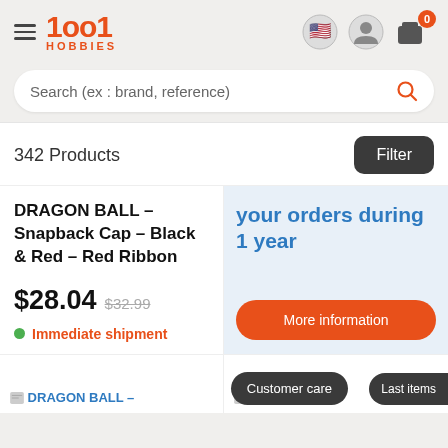1001 HOBBIES
Search (ex : brand, reference)
342 Products
Filter
your orders during 1 year
DRAGON BALL – Snapback Cap – Black & Red – Red Ribbon
$28.04  $32.99
Immediate shipment
More information
DRAGON BALL –
Dragon Ball
Customer care
Last items